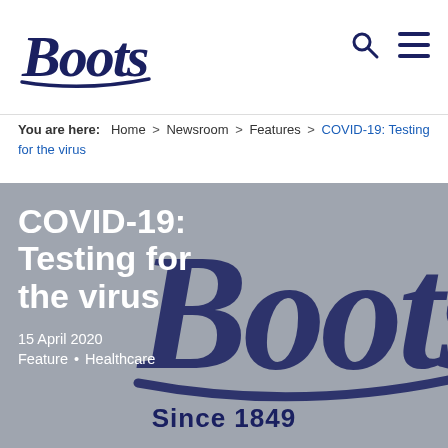[Figure (logo): Boots pharmacy script logo in navy blue at top left of header]
Boots website header with search and menu icons
You are here: Home > Newsroom > Features > COVID-19: Testing for the virus
[Figure (illustration): Hero banner with grey background featuring large Boots script logo watermark, white text overlay reading COVID-19: Testing for the virus, date 15 April 2020, tags Feature • Healthcare, and Since 1849 text at bottom]
COVID-19: Testing for the virus
15 April 2020
Feature • Healthcare